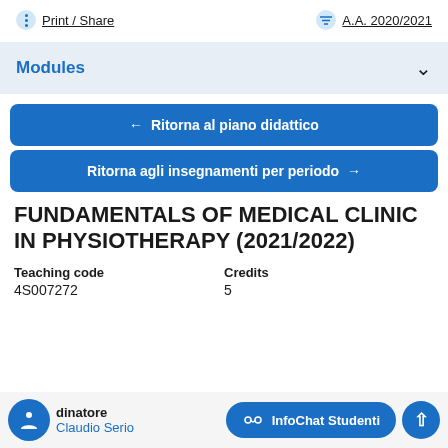Print / Share    A.A. 2020/2021
Modules
← Ritorna al piano didattico
Ritorna agli insegnamenti per periodo →
FUNDAMENTALS OF MEDICAL CLINIC IN PHYSIOTHERAPY (2021/2022)
Teaching code
4S007272
Credits
5
Coordinatore
Claudio Serio